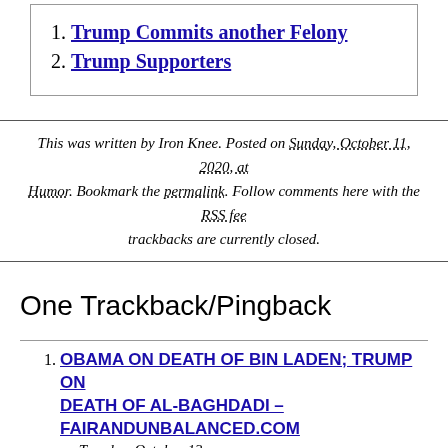Trump Commits another Felony
Trump Supporters
This was written by Iron Knee. Posted on Sunday, October 11, 2020, at Humor. Bookmark the permalink. Follow comments here with the RSS feed. Both comments and trackbacks are currently closed.
One Trackback/Pingback
OBAMA ON DEATH OF BIN LADEN; TRUMP ON DEATH OF AL-BAGHDADI – FAIRANDUNBALANCED.COM on Tuesday, October 13 at 8:00 am
[…] found via Political Irony […]